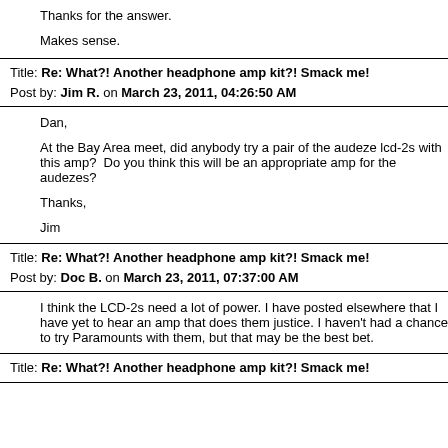Thanks for the answer.

Makes sense.
Title: Re: What?! Another headphone amp kit?! Smack me!
Post by: Jim R. on March 23, 2011, 04:26:50 AM
Dan,

At the Bay Area meet, did anybody try a pair of the audeze lcd-2s with this amp?  Do you think this will be an appropriate amp for the audezes?

Thanks,

Jim
Title: Re: What?! Another headphone amp kit?! Smack me!
Post by: Doc B. on March 23, 2011, 07:37:00 AM
I think the LCD-2s need a lot of power. I have posted elsewhere that I have yet to hear an amp that does them justice. I haven't had a chance to try Paramounts with them, but that may be the best bet.
Title: Re: What?! Another headphone amp kit?! Smack me!